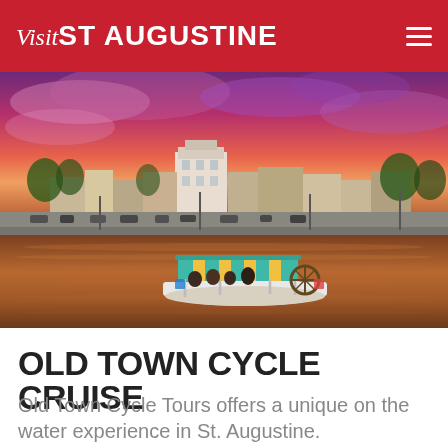Visit St Augustine
[Figure (photo): A colorful pedal-powered cycle boat on the water in St. Augustine, Florida at sunset with a dramatic pink and purple sky. Historic buildings are visible on the waterfront in the background.]
OLD TOWN CYCLE CRUISE
Old Town Cycle Tours offers a unique on the water experience in St. Augustine.